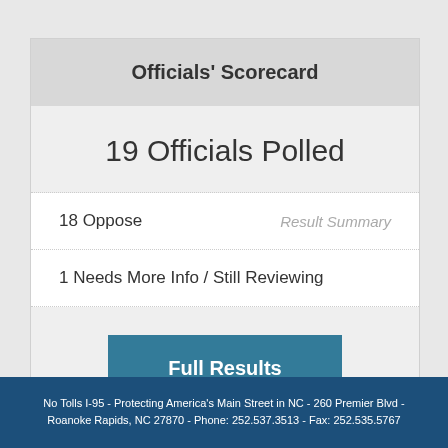Officials' Scorecard
19 Officials Polled
18 Oppose
Result Summary
1 Needs More Info / Still Reviewing
Full Results
No Tolls I-95 - Protecting America's Main Street in NC - 260 Premier Blvd - Roanoke Rapids, NC 27870 - Phone: 252.537.3513 - Fax: 252.535.5767